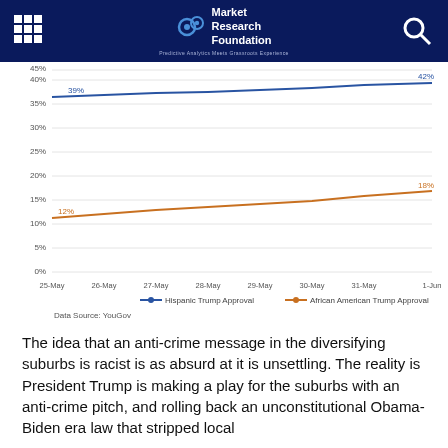Market Research Foundation — Predictive Analytics Meets Grassroots Experience
[Figure (line-chart): ]
Data Source: YouGov
The idea that an anti-crime message in the diversifying suburbs is racist is as absurd at it is unsettling. The reality is President Trump is making a play for the suburbs with an anti-crime pitch, and rolling back an unconstitutional Obama-Biden era law that stripped local